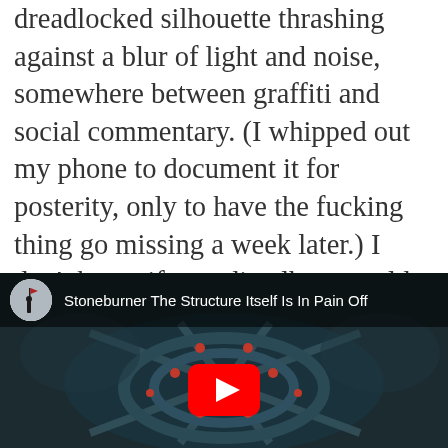dreadlocked silhouette thrashing against a blur of light and noise, somewhere between graffiti and social commentary. (I whipped out my phone to document it for posterity, only to have the fucking thing go missing a week later.) I don't know if a studio album could match that level of live spontaneous energy, but Technology Implies Belligerence captures the same sense of apocalyptic collage.
[Figure (screenshot): YouTube video embed showing 'Stoneburner The Structure Itself Is In Pain Off...' with a dark sci-fi metallic sculpture thumbnail, channel avatar showing a silhouette figure with flag, and a red YouTube play button overlay.]